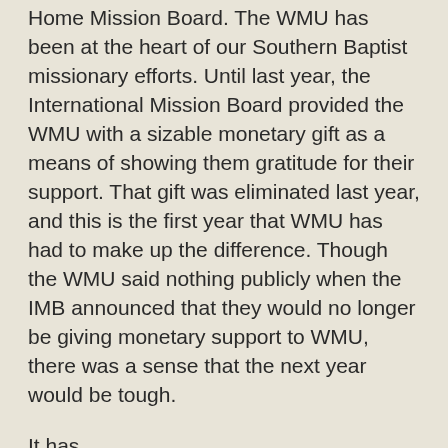Home Mission Board. The WMU has been at the heart of our Southern Baptist missionary efforts. Until last year, the International Mission Board provided the WMU with a sizable monetary gift as a means of showing them gratitude for their support. That gift was eliminated last year, and this is the first year that WMU has had to make up the difference. Though the WMU said nothing publicly when the IMB announced that they would no longer be giving monetary support to WMU, there was a sense that the next year would be tough.
It has.
Day before yesterday, the employees of the Woman's Missionary Union were called to a meeting to announce difficult but preemptive measures that were being taken due to the economic down turn. The WMU is short two million dollars in revenue. The executive director of the WMU, Wanda Lee, is working very hard to keep all of the WMU's employees in place, not wanting to lay anyone off. To accomplish this, the employees of the WMU are having to take what amounts to a four week furlough, spread out over an eight month period, without pay. Obviously, those